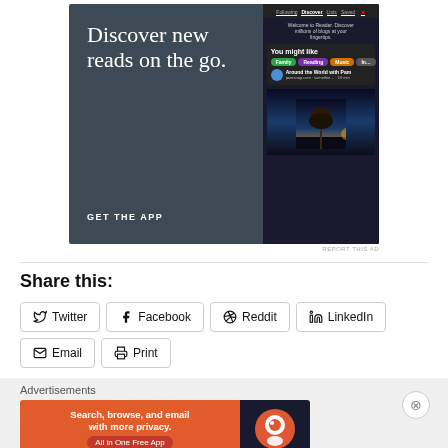[Figure (illustration): WordPress Reader app advertisement with dark slate background. Left side shows text 'Discover new reads on the go.' and 'GET THE APP'. Right side shows a mobile phone screen with the Reader app interface showing tags like Family, Reading, Music, and a blog entry 'Around the World with Pam', plus a landscape photo of a tree at sunset.]
REPORT THIS AD
Share this:
Twitter
Facebook
Reddit
LinkedIn
Email
Print
Advertisements
[Figure (illustration): DuckDuckGo advertisement banner. Orange left section with text 'Search, browse, and email with more privacy. All in One Free App'. Dark right section with DuckDuckGo logo.]
REPORT THIS AD